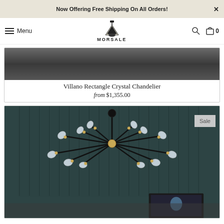Now Offering Free Shipping On All Orders!
[Figure (logo): Morsale logo with pendant light icon and brand name MORSALE]
Villano Rectangle Crystal Chandelier
from $1,355.00
[Figure (photo): Modern crystal branch chandelier with black frame and gold accents, multiple crystal bulb shades, hanging over a dark teal paneled wall room. Sale badge visible.]